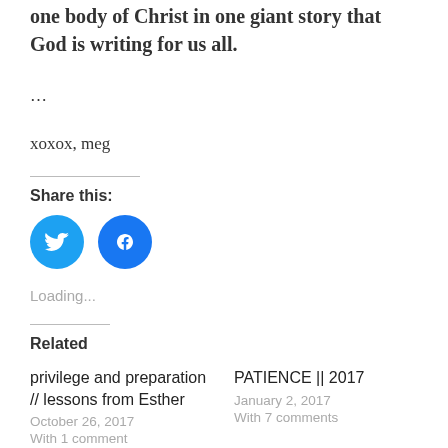one body of Christ in one giant story that God is writing for us all.
…
xoxox, meg
Share this:
[Figure (other): Twitter and Facebook share buttons (blue circular icons)]
Loading...
Related
privilege and preparation // lessons from Esther
October 26, 2017
With 1 comment
PATIENCE || 2017
January 2, 2017
With 7 comments